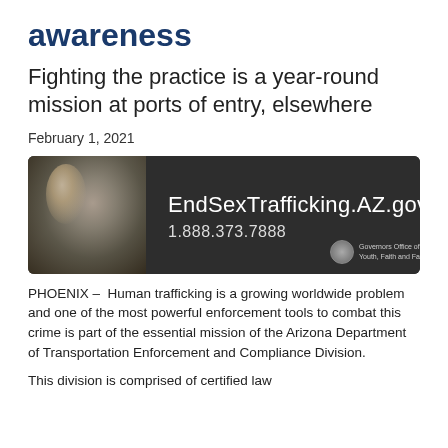awareness
Fighting the practice is a year-round mission at ports of entry, elsewhere
February 1, 2021
[Figure (photo): Anti-human trafficking awareness image showing a woman's face in shadow alongside the EndSexTrafficking.AZ.gov website URL and phone number 1.888.373.7888, with Governor's Office of Youth, Faith and Family branding.]
PHOENIX – Human trafficking is a growing worldwide problem and one of the most powerful enforcement tools to combat this crime is part of the essential mission of the Arizona Department of Transportation Enforcement and Compliance Division.
This division is comprised of certified law